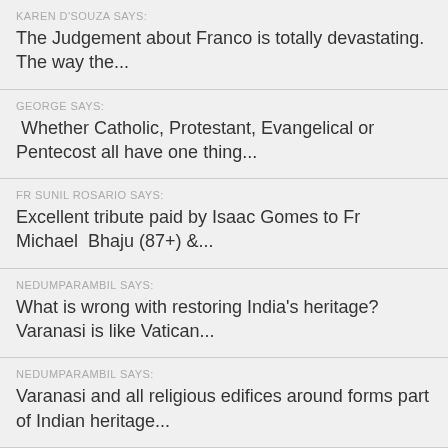KAREN D'SOUZA SAYS:
The Judgement about Franco is totally devastating.  The way the...
GEORGE SAYS:
Whether Catholic, Protestant, Evangelical or Pentecost all have one thing...
FR SUNIL ROSARIO SAYS:
Excellent tribute paid by Isaac Gomes to Fr Michael  Bhaju (87+) &...
NEDUMPARAMBIL SAYS:
What is wrong with restoring India's heritage?  Varanasi is like Vatican...
NEDUMPARAMBIL SAYS:
Varanasi and all religious edifices around forms part of Indian heritage...
JOHN DAYAL SAYS: